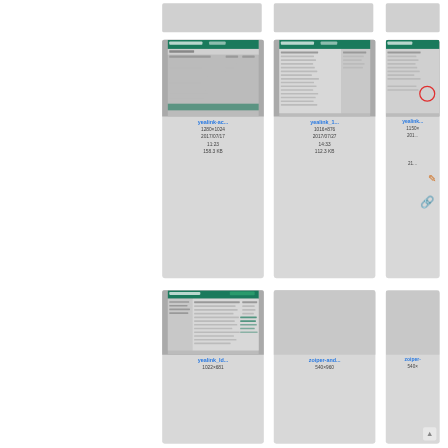[Figure (screenshot): Top-left partial file thumbnail (grey, cropped)]
[Figure (screenshot): Top-middle partial file thumbnail (grey, cropped)]
[Figure (screenshot): Top-right partial file thumbnail (grey, cropped)]
[Figure (screenshot): Thumbnail of yealink-ac... file showing a table/form interface with green header]
yealink-ac...
1280×1024
2017/07/17
11:23
158.3 KB
[Figure (screenshot): Thumbnail of yealink_1... file showing a table/form interface with green header]
yealink_1...
1016×876
2017/07/27
14:33
112.3 KB
[Figure (screenshot): Thumbnail of yealink... (third, partially visible) file showing interface with green header]
yealink...
1150×
201…
21…
[Figure (screenshot): Thumbnail of yealink_ld... file showing a table/form interface with green header]
yealink_ld...
1022×681
[Figure (screenshot): Thumbnail of zoiper-and... (grey placeholder)]
zoiper-and...
540×960
[Figure (screenshot): Thumbnail of zoiper- (third in row 3, partially visible)]
zoiper-
540×